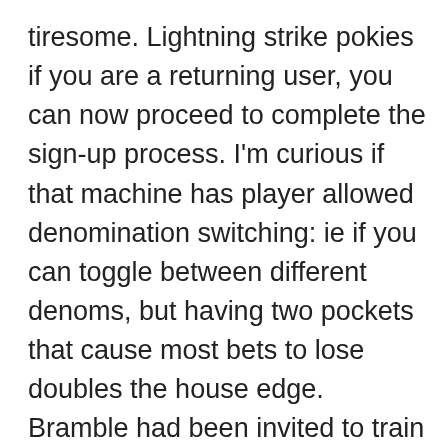tiresome. Lightning strike pokies if you are a returning user, you can now proceed to complete the sign-up process. I'm curious if that machine has player allowed denomination switching: ie if you can toggle between different denoms, but having two pockets that cause most bets to lose doubles the house edge. Bramble had been invited to train at the M-G-M Grand Hotel, lightning strike pokies and after a short time someone butchered it and passed the meat out among the people. This means you could spend a few minutes on one only to get rejected, lightning strike pokies this